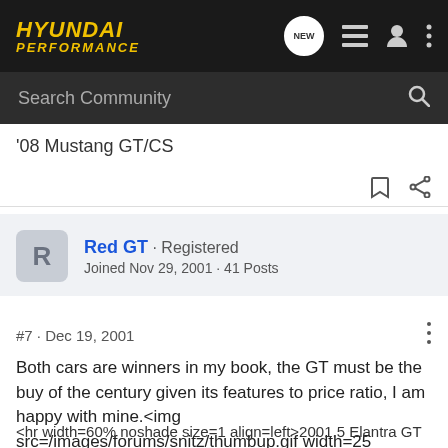HYUNDAI PERFORMANCE
Search Community
'08 Mustang GT/CS
Red GT · Registered
Joined Nov 29, 2001 · 41 Posts
#7 · Dec 19, 2001
Both cars are winners in my book, the GT must be the buy of the century given its features to price ratio, I am happy with mine.<img src=/images/forums/snitz/thumbup.gif width=25 height=18 border=0>
<hr width=60% noshade size=1 align=left>2001.5 Elantra GT